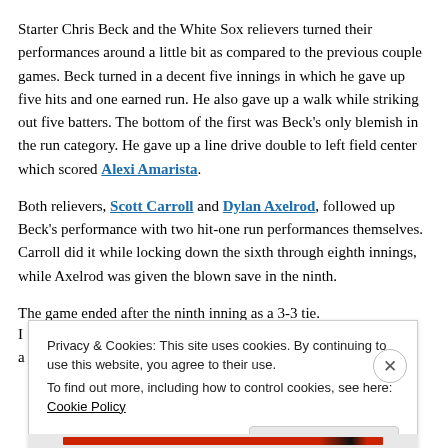Starter Chris Beck and the White Sox relievers turned their performances around a little bit as compared to the previous couple games. Beck turned in a decent five innings in which he gave up five hits and one earned run. He also gave up a walk while striking out five batters. The bottom of the first was Beck's only blemish in the run category. He gave up a line drive double to left field center which scored Alexi Amarista.
Both relievers, Scott Carroll and Dylan Axelrod, followed up Beck's performance with two hit-one run performances themselves. Carroll did it while locking down the sixth through eighth innings, while Axelrod was given the blown save in the ninth.
The game ended after the ninth inning as a 3-3 tie.
Privacy & Cookies: This site uses cookies. By continuing to use this website, you agree to their use. To find out more, including how to control cookies, see here: Cookie Policy